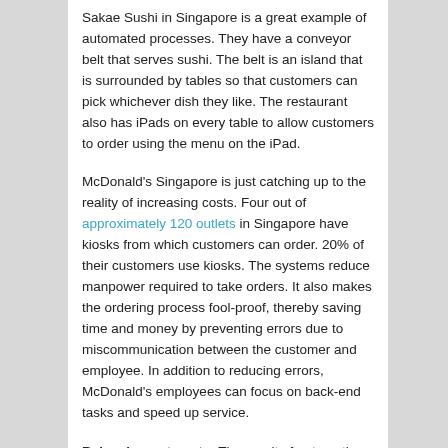Sakae Sushi in Singapore is a great example of automated processes. They have a conveyor belt that serves sushi. The belt is an island that is surrounded by tables so that customers can pick whichever dish they like. The restaurant also has iPads on every table to allow customers to order using the menu on the iPad.
McDonald's Singapore is just catching up to the reality of increasing costs. Four out of approximately 120 outlets in Singapore have kiosks from which customers can order. 20% of their customers use kiosks. The systems reduce manpower required to take orders. It also makes the ordering process fool-proof, thereby saving time and money by preventing errors due to miscommunication between the customer and employee. In addition to reducing errors, McDonald's employees can focus on back-end tasks and speed up service.
Balancing out costs: The result of automating is that there are shorter queues and more customers walking in through the door. The self ordering payment systems that